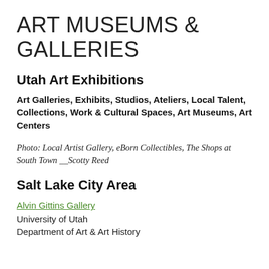ART MUSEUMS & GALLERIES
Utah Art Exhibitions
Art Galleries, Exhibits, Studios, Ateliers, Local Talent, Collections, Work & Cultural Spaces, Art Museums, Art Centers
Photo: Local Artist Gallery, eBorn Collectibles, The Shops at South Town __Scotty Reed
Salt Lake City Area
Alvin Gittins Gallery
University of Utah
Department of Art & Art History